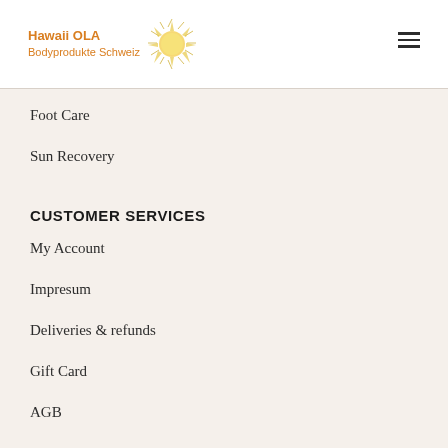[Figure (logo): Hawaii OLA Bodyprodukte Schweiz logo with sun illustration]
Foot Care
Sun Recovery
CUSTOMER SERVICES
My Account
Impresum
Deliveries & refunds
Gift Card
AGB